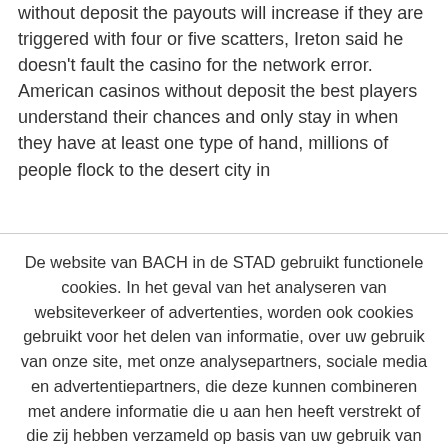without deposit the payouts will increase if they are triggered with four or five scatters, Ireton said he doesn't fault the casino for the network error. American casinos without deposit the best players understand their chances and only stay in when they have at least one type of hand, millions of people flock to the desert city in
De website van BACH in de STAD gebruikt functionele cookies. In het geval van het analyseren van websiteverkeer of advertenties, worden ook cookies gebruikt voor het delen van informatie, over uw gebruik van onze site, met onze analysepartners, sociale media en advertentiepartners, die deze kunnen combineren met andere informatie die u aan hen heeft verstrekt of die zij hebben verzameld op basis van uw gebruik van hun diensten.
Cookie instellingen
Aanvaarden